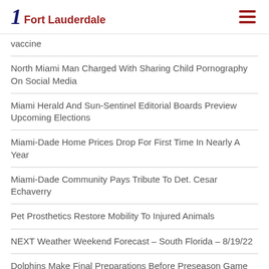1 Fort Lauderdale
vaccine
North Miami Man Charged With Sharing Child Pornography On Social Media
Miami Herald And Sun-Sentinel Editorial Boards Preview Upcoming Elections
Miami-Dade Home Prices Drop For First Time In Nearly A Year
Miami-Dade Community Pays Tribute To Det. Cesar Echaverry
Pet Prosthetics Restore Mobility To Injured Animals
NEXT Weather Weekend Forecast – South Florida – 8/19/22
Dolphins Make Final Preparations Before Preseason Game